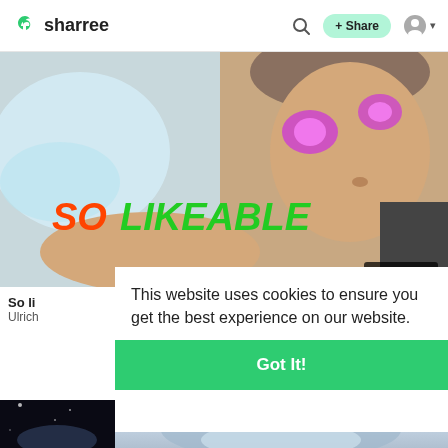[Figure (screenshot): Sharree website header with logo, search icon, Share button, and user icon]
[Figure (photo): Video thumbnail showing a boy with glowing purple eyes looking up, with text 'SO LIKEABLE' in green stylized font and a timestamp of 00:03:46]
So li...
Ulrich
This website uses cookies to ensure you get the best experience on our website.
Learn More
Got It!
[Figure (photo): Dark space/night sky image at bottom left]